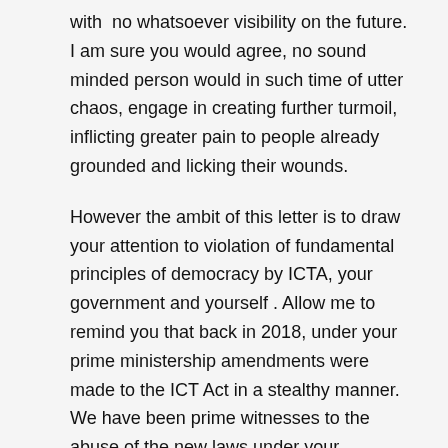with no whatsoever visibility on the future.  I am sure you would agree, no sound minded person would in such time of utter chaos, engage in creating further turmoil, inflicting greater pain to people already grounded and licking their wounds.
However the ambit of this letter is to draw your attention to violation of fundamental principles of democracy by ICTA, your government and yourself . Allow me to remind you that back in 2018, under your prime ministership amendments were made to the ICT Act in a stealthy manner. We have been prime witnesses to the abuse of the new laws under your government  and double standards applied by enforcement agencies.
As you embark to FURTHER regulate Social & Digital